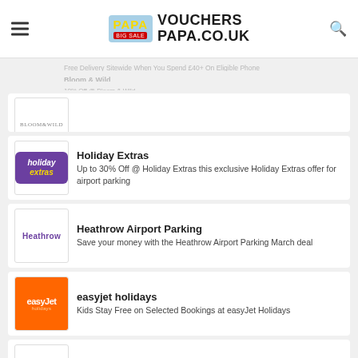VouchersPapa.co.uk
Holiday Extras
Up to 30% Off @ Holiday Extras this exclusive Holiday Extras offer for airport parking
Heathrow Airport Parking
Save your money with the Heathrow Airport Parking March deal
easyjet holidays
Kids Stay Free on Selected Bookings at easyJet Holidays
alamo
Exclusive From £34.32 on Get Miami car hire - at alamo Now!